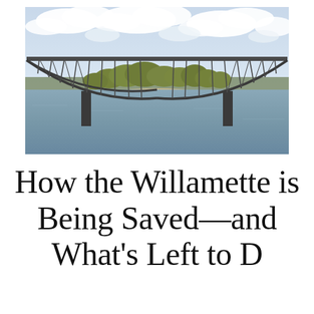[Figure (photo): Photograph of a steel truss arch bridge spanning a wide river, with a tree-covered island in the background and a partly cloudy sky above.]
How the Willamette is Being Saved—and What's Left to D...